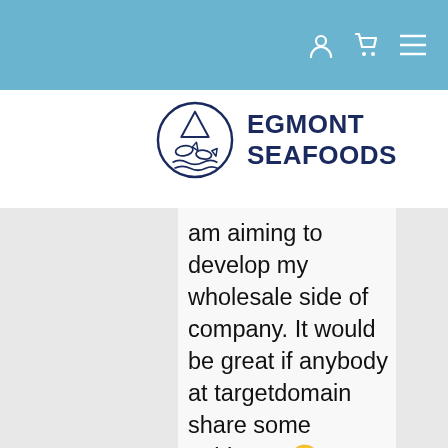[Figure (logo): Egmont Seafoods logo: circular emblem with fish and waves, beside bold text 'EGMONT SEAFOODS']
am aiming to develop my wholesale side of company. It would be great if anybody at targetdomain share some guidance 🙂 I considered that the very best way to do this would be to connect to vape shops and cbd stores. I was hoping if anyone could suggest a qualified web-site